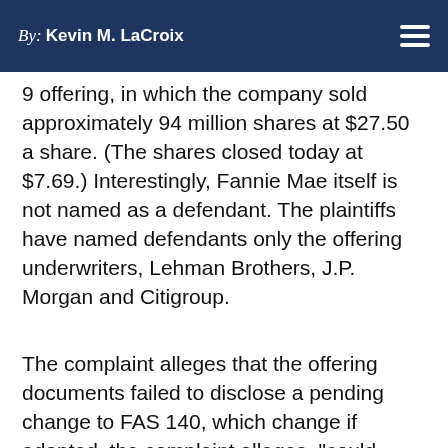By: Kevin M. LaCroix
9 offering, in which the company sold approximately 94 million shares at $27.50 a share. (The shares closed today at $7.69.) Interestingly, Fannie Mae itself is not named as a defendant. The plaintiffs have named defendants only the offering underwriters, Lehman Brothers, J.P. Morgan and Citigroup.
The complaint alleges that the offering documents failed to disclose a pending change to FAS 140, which change if adopted, the complaint alleges, "could require the Company to raise as much as $46 billion of capital in order to remain in compliance" with its regulatory capital requirements. The complaint alleges that FAS